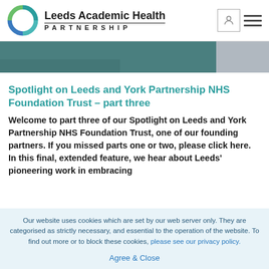Leeds Academic Health PARTNERSHIP
[Figure (photo): Photograph strip showing teal/green fabric or clothing, partially visible]
Spotlight on Leeds and York Partnership NHS Foundation Trust – part three
Welcome to part three of our Spotlight on Leeds and York Partnership NHS Foundation Trust, one of our founding partners. If you missed parts one or two, please click here. In this final, extended feature, we hear about Leeds' pioneering work in embracing
Our website uses cookies which are set by our web server only. They are categorised as strictly necessary, and essential to the operation of the website. To find out more or to block these cookies, please see our privacy policy.

Agree & Close